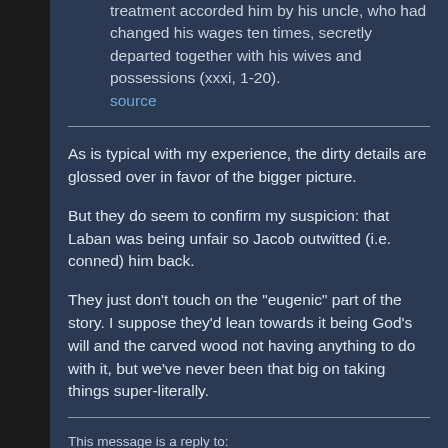treatment accorded him by his uncle, who had changed his wages ten times, secretly departed together with his wives and possessions (xxxi, 1-20). source
As is typical with my experience, the dirty details are glossed over in favor of the bigger picture.
But they do seem to confirm my suspicion: that Laban was being unfair so Jacob outwitted (i.e. conned) him back.
They just don't touch on the "eugenic" part of the story. I suppose they'd lean towards it being God's will and the carved wood not having anything to do with it, but we've never been that big on taking things super-literally.
This message is a reply to: Message 95 by marc9000, posted 09-16-2013 7:21 PM marc9000 has replied